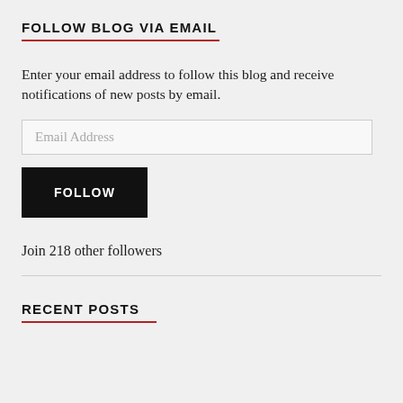FOLLOW BLOG VIA EMAIL
Enter your email address to follow this blog and receive notifications of new posts by email.
Join 218 other followers
RECENT POSTS